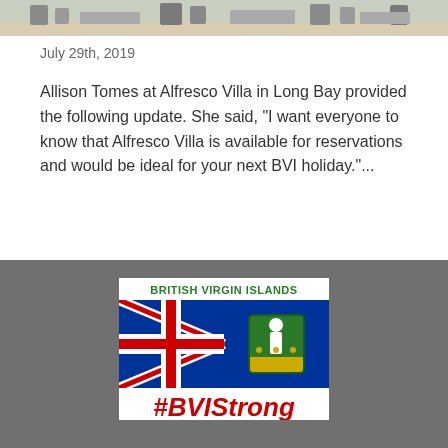[Figure (photo): Outdoor patio scene with furniture, chairs visible at top of page]
July 29th, 2019
Allison Tomes at Alfresco Villa in Long Bay provided the following update. She said, "I want everyone to know that Alfresco Villa is available for reservations and would be ideal for your next BVI holiday."...
Read More
[Figure (logo): British Virgin Islands promotional card with BVI flag and #BVIStrong text]